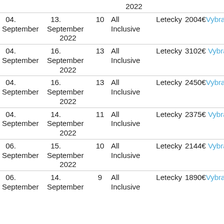| From | To | Nights | Board | Transport | Price | Action |
| --- | --- | --- | --- | --- | --- | --- |
| 04. September | 13. September 2022 | 10 | All Inclusive | Letecky | 2004€ | Vybrat |
| 04. September | 16. September 2022 | 13 | All Inclusive | Letecky | 3102€ | Vybrat |
| 04. September | 16. September 2022 | 13 | All Inclusive | Letecky | 2450€ | Vybrat |
| 04. September | 14. September 2022 | 11 | All Inclusive | Letecky | 2375€ | Vybrat |
| 06. September | 15. September 2022 | 10 | All Inclusive | Letecky | 2144€ | Vybrat |
| 06. September | 14. September 2022 | 9 | All Inclusive | Letecky | 1890€ | Vybrat |